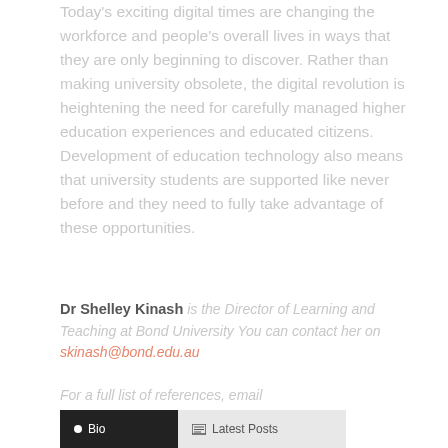Today's exciting digital times are changing the workforce and people's overall lives in ways that they are only beginning to discover. Rather than making university obsolete, the digital revolution is heightening the need for carefully managed higher education experiences and educated citizens. Development of education technology also means that university students are supported like never before and they need to fully take advantage of these opportunities.
Dr Shelley Kinash is the Director of Learning and Teaching at Bond University You can contact her on skinash@bond.edu.au
For a full list of references, email admin@interactivemediasolutions.com.au
[Figure (other): Tab bar at bottom with two tabs: 'Bio' tab with dark background and white text, and 'Latest Posts' tab with light grey background]